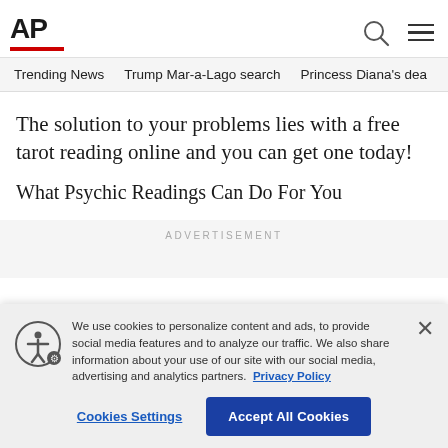AP
Trending News   Trump Mar-a-Lago search   Princess Diana's dea
The solution to your problems lies with a free tarot reading online and you can get one today!
What Psychic Readings Can Do For You
ADVERTISEMENT
We use cookies to personalize content and ads, to provide social media features and to analyze our traffic. We also share information about your use of our site with our social media, advertising and analytics partners. Privacy Policy
Cookies Settings
Accept All Cookies